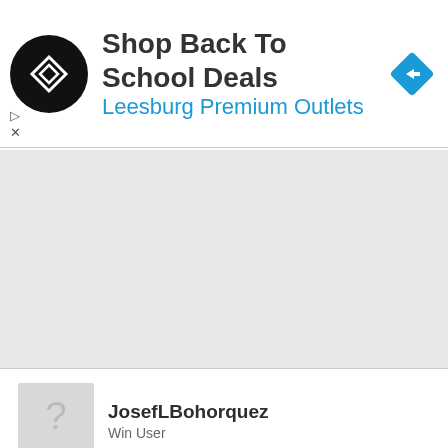[Figure (screenshot): Advertisement banner for Leesburg Premium Outlets with black circular logo, text 'Shop Back To School Deals' and 'Leesburg Premium Outlets' in blue, and a blue diamond navigation icon on the right.]
JosefLBohorquez
Win User
Xbox app won't load whenever I restart the PC and games